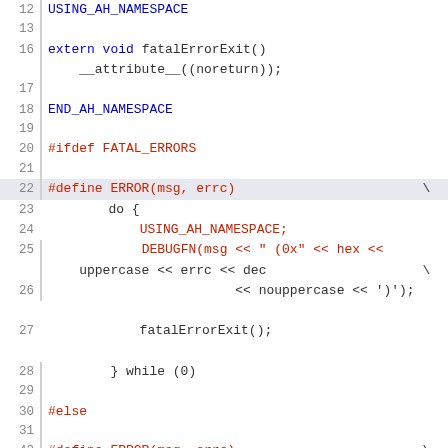[Figure (screenshot): Code editor screenshot showing C++ source code lines 12-43 with syntax highlighting. Blue text for namespace macros, red text for preprocessor directives, black/dark text for code. Line numbers shown on left with vertical gutter line.]